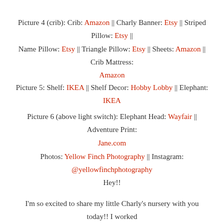Picture 4 (crib): Crib: Amazon || Charly Banner: Etsy || Striped Pillow: Etsy || Name Pillow: Etsy || Triangle Pillow: Etsy || Sheets: Amazon || Crib Mattress: Amazon
Picture 5: Shelf: IKEA || Shelf Decor: Hobby Lobby || Elephant: IKEA
Picture 6 (above light switch): Elephant Head: Wayfair || Adventure Print: Jane.com
Photos: Yellow Finch Photography || Instagram: @yellowfinchphotography
Hey!!
I'm so excited to share my little Charly's nursery with you today!! I worked really hard on this and I have never really been the decorating type, but I